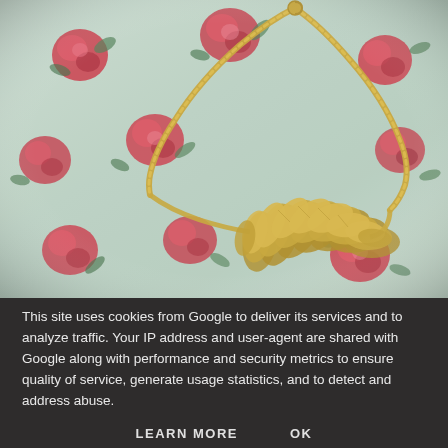[Figure (photo): A gold leaf/petal statement necklace with a mesh chain, laid out on a floral pink fabric with red roses and green leaves print.]
This site uses cookies from Google to deliver its services and to analyze traffic. Your IP address and user-agent are shared with Google along with performance and security metrics to ensure quality of service, generate usage statistics, and to detect and address abuse.
LEARN MORE   OK